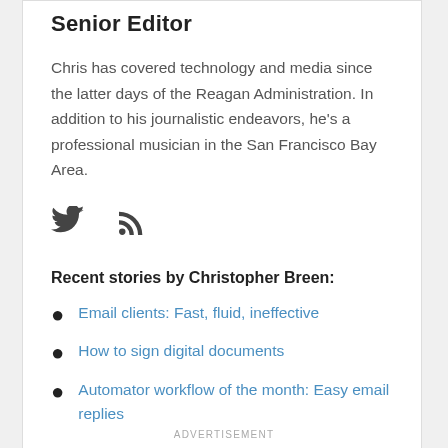Senior Editor
Chris has covered technology and media since the latter days of the Reagan Administration. In addition to his journalistic endeavors, he's a professional musician in the San Francisco Bay Area.
[Figure (illustration): Twitter bird icon and RSS feed icon in dark gray]
Recent stories by Christopher Breen:
Email clients: Fast, fluid, ineffective
How to sign digital documents
Automator workflow of the month: Easy email replies
ADVERTISEMENT